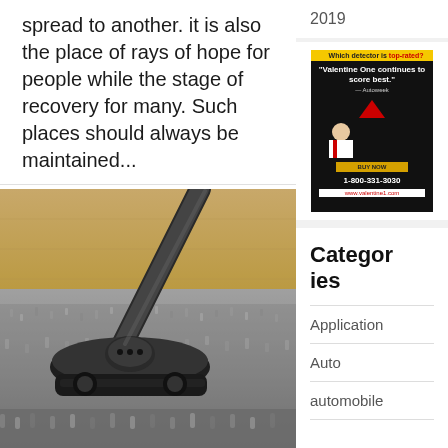spread to another. it is also the place of rays of hope for people while the stage of recovery for many. Such places should always be maintained...
[Figure (photo): Close-up photo of a vacuum cleaner head on a thick gray carpet with wooden floor visible in background]
2019
[Figure (photo): Advertisement for Valentine One radar detector. Text reads: 'Which detector is top-rated? Valentine One continues to score best.' Shows man in suit with phone number 1-800-331-3030 and website www.valentine1.com]
Categories
Application
Auto
automobile